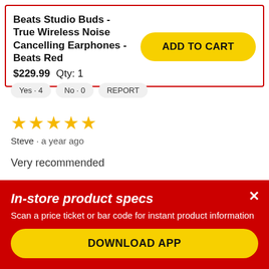Beats Studio Buds - True Wireless Noise Cancelling Earphones - Beats Red
$229.99  Qty: 1
ADD TO CART
Yes · 4   No · 0   REPORT
[Figure (other): 5 gold stars rating]
Steve · a year ago
Very recommended
Pros: Price, Quality sound, Elegance
Cons: Ear tips for some people won't be match,
In-store product specs
Scan a price ticket or bar code for instant product information
DOWNLOAD APP